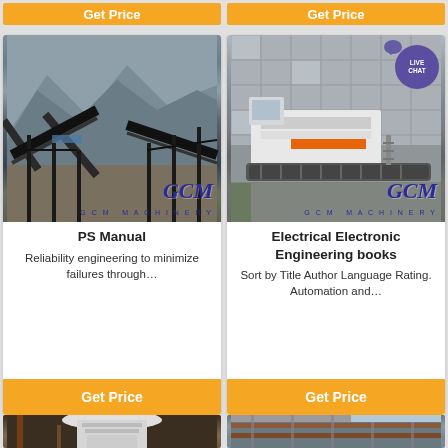Get Price
Get Price
[Figure (photo): Outdoor mining/quarry conveyor belt and crushing plant with mountains in background, GCM Machinery logo overlay]
PS Manual
Reliability engineering to minimize failures through…
Get Price
[Figure (photo): Mobile jaw crusher unit in industrial yard with building in background, Live Chat badge, GCM Machinery logo overlay]
Electrical Electronic Engineering books
Sort by Title Author Language Rating. Automation and…
Get Price
[Figure (photo): Cone crusher machine in industrial facility (partially visible at bottom)]
[Figure (photo): Industrial metal structure or ship hull section (partially visible at bottom)]